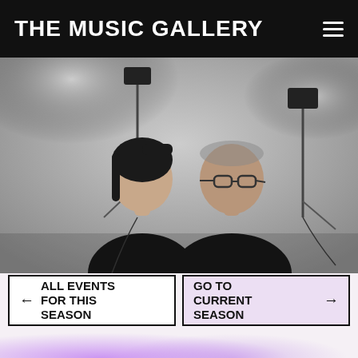THE MUSIC GALLERY
[Figure (photo): Two people dressed in black standing in front of studio lighting equipment against a grey background. Left person has dark hair in a bob cut, right person wears glasses.]
← ALL EVENTS FOR THIS SEASON
GO TO CURRENT SEASON →